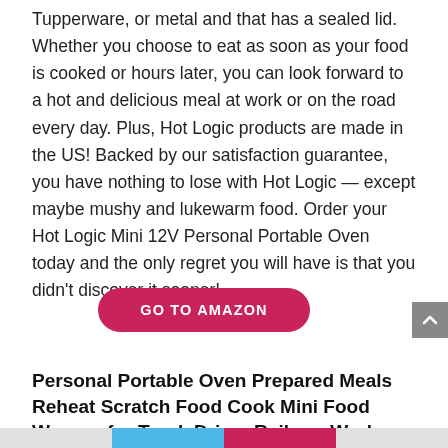Tupperware, or metal and that has a sealed lid. Whether you choose to eat as soon as your food is cooked or hours later, you can look forward to a hot and delicious meal at work or on the road every day. Plus, Hot Logic products are made in the US! Backed by our satisfaction guarantee, you have nothing to lose with Hot Logic — except maybe mushy and lukewarm food. Order your Hot Logic Mini 12V Personal Portable Oven today and the only regret you will have is that you didn't discover it sooner!
[Figure (other): GO TO AMAZON button — a pill-shaped crimson/dark-pink button with white uppercase bold text reading 'GO TO AMAZON']
Personal Portable Oven Prepared Meals Reheat Scratch Food Cook Mini Food Warmer for Truck Driver Railway Worker by Aotto